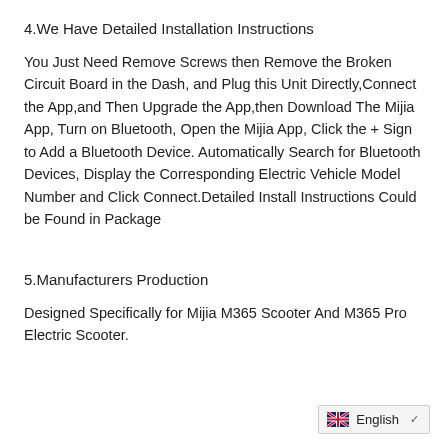4.We Have Detailed Installation Instructions
You Just Need Remove Screws then Remove the Broken Circuit Board in the Dash, and Plug this Unit Directly,Connect the App,and Then Upgrade the App,then Download The Mijia App, Turn on Bluetooth, Open the Mijia App, Click the + Sign to Add a Bluetooth Device. Automatically Search for Bluetooth Devices, Display the Corresponding Electric Vehicle Model Number and Click Connect.Detailed Install Instructions Could be Found in Package
5.Manufacturers Production
Designed Specifically for Mijia M365 Scooter And M365 Pro Electric Scooter.